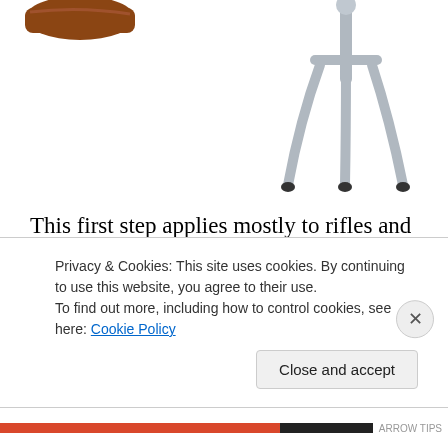[Figure (illustration): Partial view of a rifle stock (brown/wooden) on the upper left, and a bore sighting stand tool (silver/grey tripod-like stand) on the upper right against a white background.]
This first step applies mostly to rifles and scopes that have a new marriage. The first time a scope is mounted to a rifle the gunsmith will usually use a bore sighting tool. This tool is used to approximately align the crosshairs of the scope with the rifle barrel. Unfortunately some folks erroneously rely on bore sighting alone to zero their gun. Remember
Privacy & Cookies: This site uses cookies. By continuing to use this website, you agree to their use.
To find out more, including how to control cookies, see here: Cookie Policy